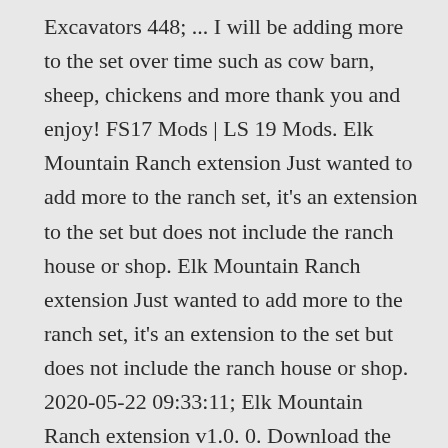Excavators 448; ... I will be adding more to the set over time such as cow barn, sheep, chickens and more thank you and enjoy! FS17 Mods | LS 19 Mods. Elk Mountain Ranch extension Just wanted to add more to the ranch set, it's an extension to the set but does not include the ranch house or shop. Elk Mountain Ranch extension Just wanted to add more to the ranch set, it's an extension to the set but does not include the ranch house or shop. 2020-05-22 09:33:11; Elk Mountain Ranch extension v1.0. 0. Download the mod Elk Mountain Ranch PACK (category: Miscellaneous) for FS19, Farming Simulator 19 on KingMods. FS 19 Elk Mountain Ranch Set